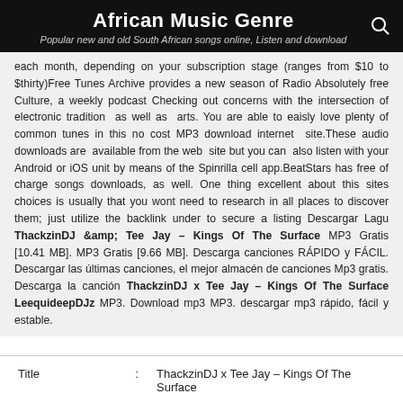African Music Genre
Popular new and old South African songs online, Listen and download
each month, depending on your subscription stage (ranges from $10 to $thirty)Free Tunes Archive provides a new season of Radio Absolutely free Culture, a weekly podcast Checking out concerns with the intersection of electronic tradition as well as arts. You are able to eaisly love plenty of common tunes in this no cost MP3 download internet site.These audio downloads are available from the web site but you can also listen with your Android or iOS unit by means of the Spinrilla cell app.BeatStars has free of charge songs downloads, as well. One thing excellent about this sites choices is usually that you wont need to research in all places to discover them; just utilize the backlink under to secure a listing Descargar Lagu ThackzinDJ &amp; Tee Jay – Kings Of The Surface MP3 Gratis [10.41 MB]. MP3 Gratis [9.66 MB]. Descarga canciones RÁPIDO y FÁCIL. Descargar las últimas canciones, el mejor almacén de canciones Mp3 gratis. Descarga la canción ThackzinDJ x Tee Jay – Kings Of The Surface LeequideepDJz MP3. Download mp3 MP3. descargar mp3 rápido, fácil y estable.
| Title | : | ThackzinDJ x Tee Jay – Kings Of The Surface |
| --- | --- | --- |